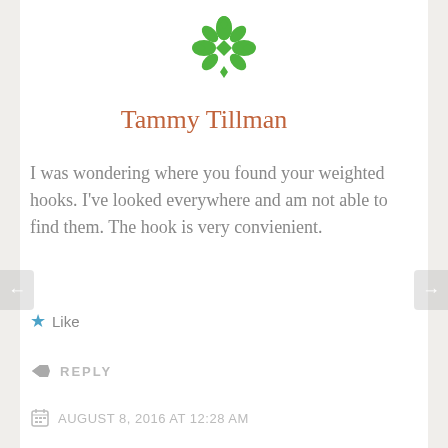[Figure (logo): Green decorative snowflake/mandala logo icon]
Tammy Tillman
I was wondering where you found your weighted hooks. I've looked everywhere and am not able to find them. The hook is very convienient.
★ Like
↳ REPLY
AUGUST 8, 2016 AT 12:28 AM
Privacy & Cookies: This site uses cookies. By continuing to use this website, you agree to their use.
To find out more, including how to control cookies, see here: Cookie Policy
Close and accept
The Ardent Teacher